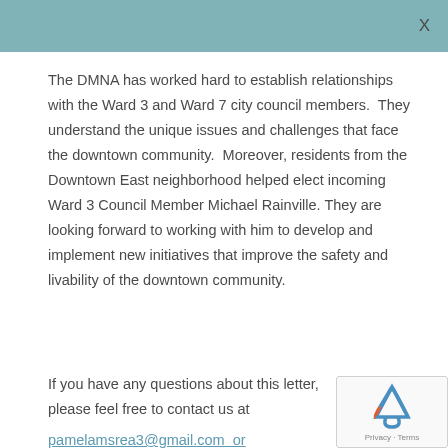X
The DMNA has worked hard to establish relationships with the Ward 3 and Ward 7 city council members.  They understand the unique issues and challenges that face the downtown community.  Moreover, residents from the Downtown East neighborhood helped elect incoming Ward 3 Council Member Michael Rainville.  They are looking forward to working with him to develop and implement new initiatives that improve the safety and livability of the downtown community.
If you have any questions about this letter, please feel free to contact us at
pamelamsrea3@gmail.com  or